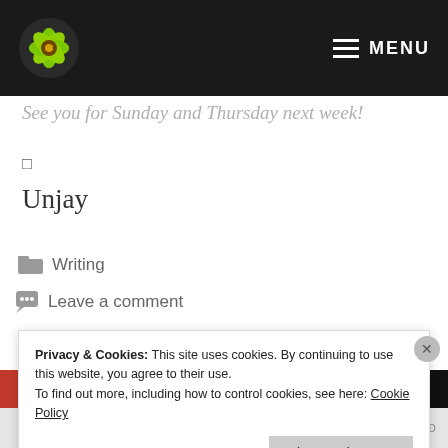MENU
See you for Sunday and Thursday next week!
□
Unjay
Writing
Leave a comment
Privacy & Cookies: This site uses cookies. By continuing to use this website, you agree to their use.
To find out more, including how to control cookies, see here: Cookie Policy